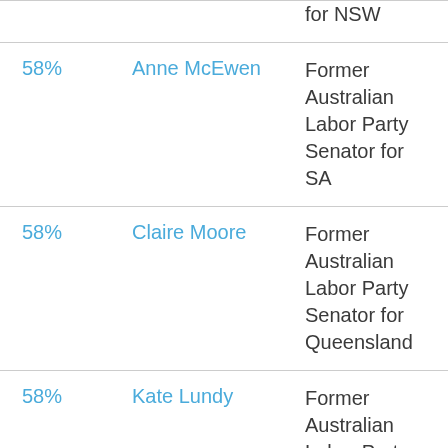| Percentage | Name | Description |
| --- | --- | --- |
|  |  | for NSW |
| 58% | Anne McEwen | Former Australian Labor Party Senator for SA |
| 58% | Claire Moore | Former Australian Labor Party Senator for Queensland |
| 58% | Kate Lundy | Former Australian Labor Party Senator for ACT |
| 58% | Joe Ludwig | Former Australian Labor Party Senator for Queensland |